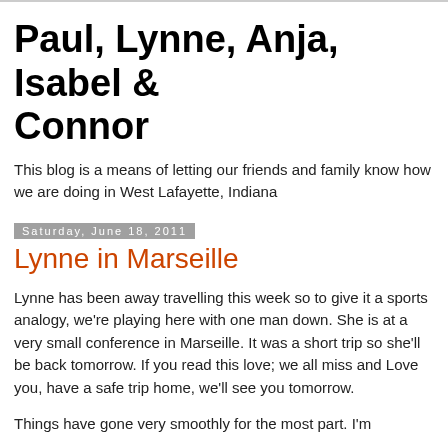Paul, Lynne, Anja, Isabel & Connor
This blog is a means of letting our friends and family know how we are doing in West Lafayette, Indiana
Saturday, June 18, 2011
Lynne in Marseille
Lynne has been away travelling this week so to give it a sports analogy, we're playing here with one man down. She is at a very small conference in Marseille. It was a short trip so she'll be back tomorrow. If you read this love; we all miss and Love you, have a safe trip home, we'll see you tomorrow.
Things have gone very smoothly for the most part. I'm